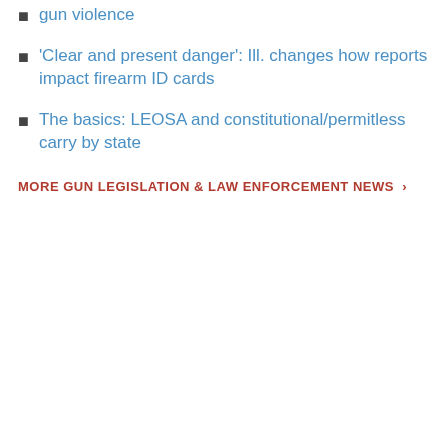gun violence
'Clear and present danger': Ill. changes how reports impact firearm ID cards
The basics: LEOSA and constitutional/permitless carry by state
MORE GUN LEGISLATION & LAW ENFORCEMENT NEWS >